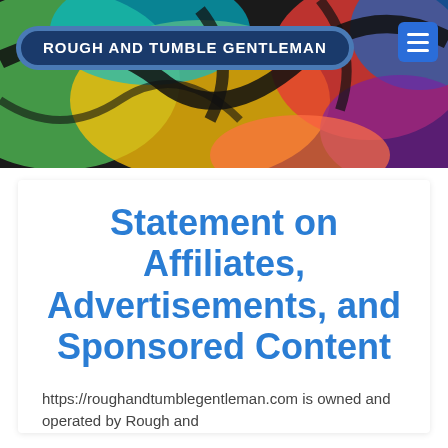ROUGH AND TUMBLE GENTLEMAN
Statement on Affiliates, Advertisements, and Sponsored Content
https://roughandtumblegentleman.com is owned and operated by Rough and